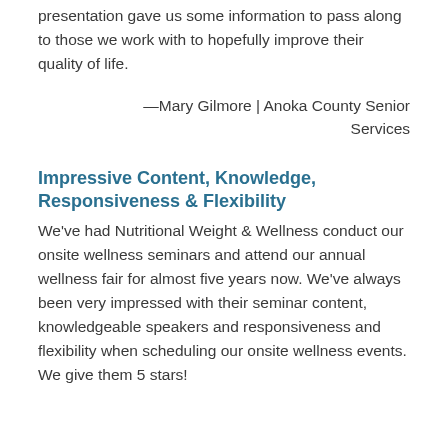presentation gave us some information to pass along to those we work with to hopefully improve their quality of life.
—Mary Gilmore | Anoka County Senior Services
Impressive Content, Knowledge, Responsiveness & Flexibility
We've had Nutritional Weight & Wellness conduct our onsite wellness seminars and attend our annual wellness fair for almost five years now. We've always been very impressed with their seminar content, knowledgeable speakers and responsiveness and flexibility when scheduling our onsite wellness events. We give them 5 stars!